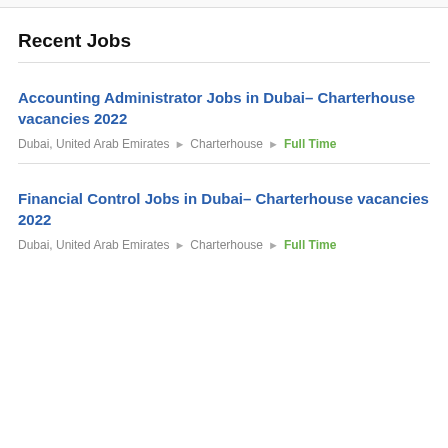Recent Jobs
Accounting Administrator Jobs in Dubai– Charterhouse vacancies 2022
Dubai, United Arab Emirates ▸ Charterhouse ▸ Full Time
Financial Control Jobs in Dubai– Charterhouse vacancies 2022
Dubai, United Arab Emirates ▸ Charterhouse ▸ Full Time